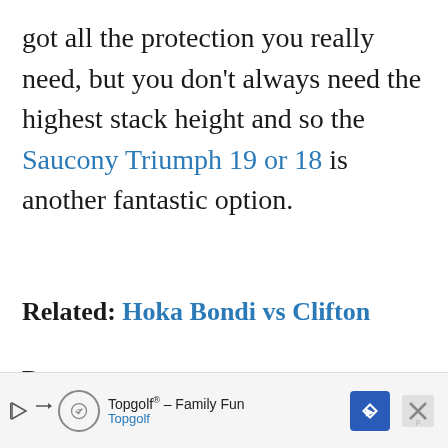got all the protection you really need, but you don't always need the highest stack height and so the Saucony Triumph 19 or 18 is another fantastic option.
Related: Hoka Bondi vs Clifton
Pros
Massive plush cushioning & next-level comfort underfoot
[Figure (other): Advertisement banner for Topgolf - Family Fun with Topgolf logo, navigation icon, and close button]